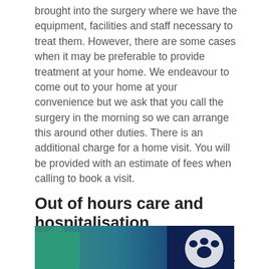brought into the surgery where we have the equipment, facilities and staff necessary to treat them. However, there are some cases when it may be preferable to provide treatment at your home. We endeavour to come out to your home at your convenience but we ask that you call the surgery in the morning so we can arrange this around other duties. There is an additional charge for a home visit. You will be provided with an estimate of fees when calling to book a visit.
Out of hours care and hospitalisation
We have provisions in place to provide emergency care for outside normal surgery hours. In circumstances where this is provided by a third party operating from our premises, any fees incurred during the out of hours times will be payable directly to that third party. Further details concerning the precise arrangements for emergency service are available in the practice.
[Figure (photo): A photo strip at the bottom of the page showing a veterinary professional in green scrubs and a paw print logo on a dark blue background.]